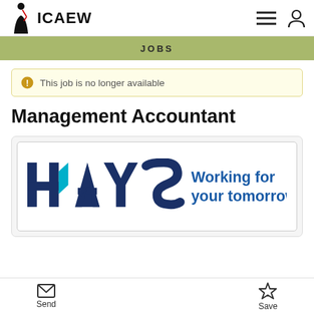ICAEW
JOBS
This job is no longer available
Management Accountant
[Figure (logo): Hays recruitment logo: HAYS in bold dark blue with cyan arrow accent, tagline 'Working for your tomorrow' in blue]
Send   Save